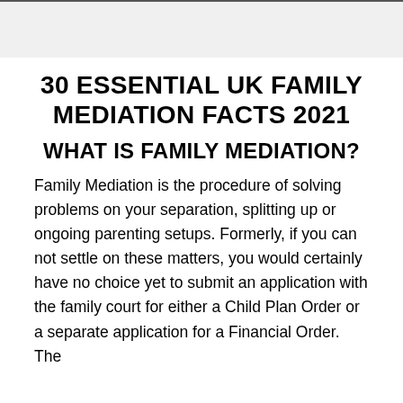30 ESSENTIAL UK FAMILY MEDIATION FACTS 2021
WHAT IS FAMILY MEDIATION?
Family Mediation is the procedure of solving problems on your separation, splitting up or ongoing parenting setups. Formerly, if you can not settle on these matters, you would certainly have no choice yet to submit an application with the family court for either a Child Plan Order or a separate application for a Financial Order. The